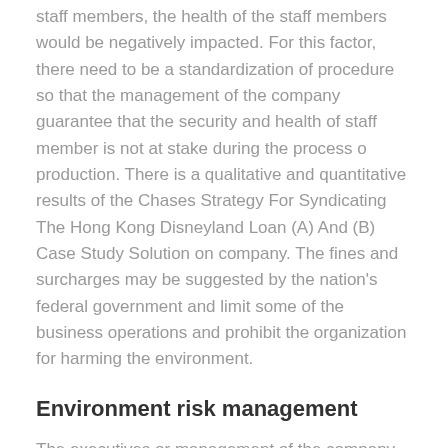staff members, the health of the staff members would be negatively impacted. For this factor, there need to be a standardization of procedure so that the management of the company guarantee that the security and health of staff member is not at stake during the process o production. There is a qualitative and quantitative results of the Chases Strategy For Syndicating The Hong Kong Disneyland Loan (A) And (B) Case Study Solution on company. The fines and surcharges may be suggested by the nation's federal government and limit some of the business operations and prohibit the organization for harming the environment.
Environment risk management
The executives or management of the company need to not handle the environment danger as